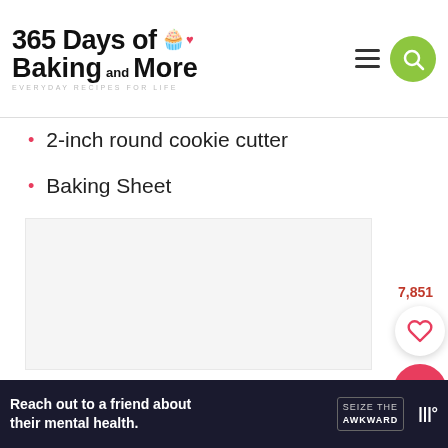365 Days of Baking and More — EVERYDAY RECIPES FOR LIFE
2-inch round cookie cutter
Baking Sheet
[Figure (photo): White/blank image placeholder area below the list items]
7,851
[Figure (other): Heart/save button (white circle with red heart outline)]
[Figure (other): Red circular search button with magnifying glass icon]
Reach out to a friend about their mental health. SEIZE THE AWKWARD